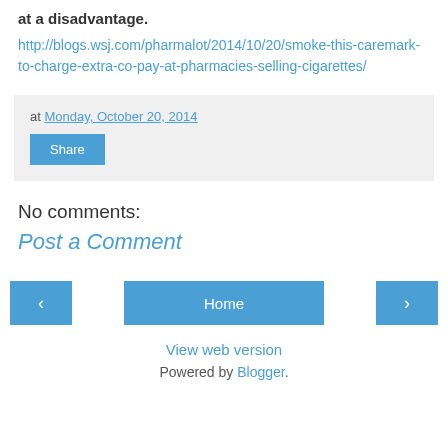at a disadvantage.
http://blogs.wsj.com/pharmalot/2014/10/20/smoke-this-caremark-to-charge-extra-co-pay-at-pharmacies-selling-cigarettes/
at Monday, October 20, 2014
Share
No comments:
Post a Comment
‹ | Home | ›
View web version
Powered by Blogger.